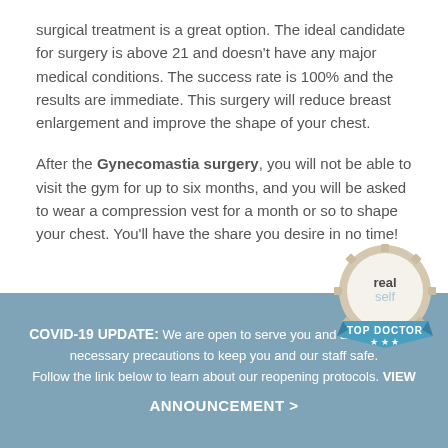surgical treatment is a great option. The ideal candidate for surgery is above 21 and doesn't have any major medical conditions. The success rate is 100% and the results are immediate. This surgery will reduce breast enlargement and improve the shape of your chest.
After the Gynecomastia surgery, you will not be able to visit the gym for up to six months, and you will be asked to wear a compression vest for a month or so to shape your chest. You'll have the share you desire in no time!
RECENT POSTS
COVID-19 UPDATE: We are open to serve you and are taking the necessary precautions to keep you and our staff safe. Follow the link below to learn about our reopening protocols. VIEW ANNOUNCEMENT >
[Figure (logo): RealSelf Top Doctor badge — circular medallion with 'realself' text and a blue ribbon reading 'TOP DOCTOR' with three stars]